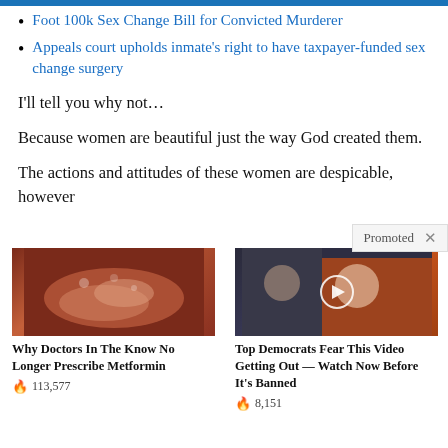Foot 100k Sex Change Bill for Convicted Murderer
Appeals court upholds inmate's right to have taxpayer-funded sex change surgery
I'll tell you why not…
Because women are beautiful just the way God created them.
The actions and attitudes of these women are despicable, however
[Figure (photo): Promoted ad unit showing medical image with caption: Why Doctors In The Know No Longer Prescribe Metformin, count 113,577]
[Figure (photo): Promoted ad unit showing political figure in orange jacket with play button overlay, caption: Top Democrats Fear This Video Getting Out — Watch Now Before It's Banned, count 8,151]